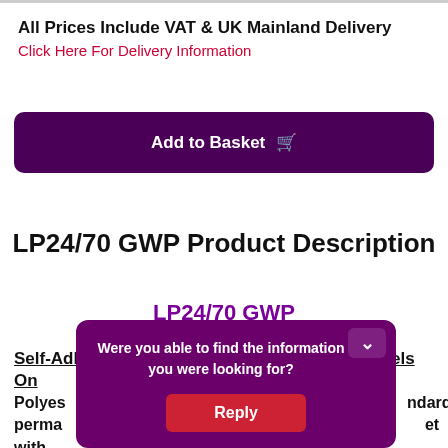All Prices Include VAT & UK Mainland Delivery
Click Here For Delivery Information
Add to Basket 🛒
LP24/70 GWP Product Description
LP24/70 GWP
Self-Adhesive Gloss White Polyester Labels On
Polyester ... standard permanent ... et with a label ... corners
Were you able to find the information you were looking for?
Reply